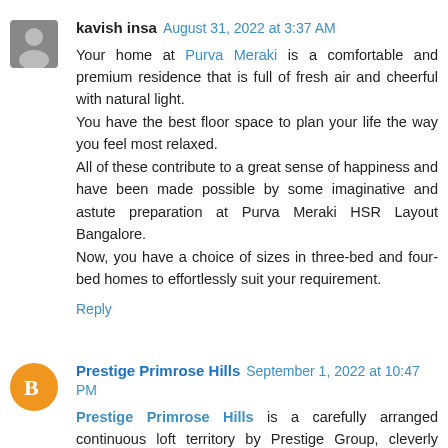kavish insa August 31, 2022 at 3:37 AM
Your home at Purva Meraki is a comfortable and premium residence that is full of fresh air and cheerful with natural light.
You have the best floor space to plan your life the way you feel most relaxed.
All of these contribute to a great sense of happiness and have been made possible by some imaginative and astute preparation at Purva Meraki HSR Layout Bangalore.
Now, you have a choice of sizes in three-bed and four-bed homes to effortlessly suit your requirement.
Reply
Prestige Primrose Hills September 1, 2022 at 10:47 PM
Prestige Primrose Hills is a carefully arranged continuous loft territory by Prestige Group, cleverly situated on Kanakapura Road in South Bangalore. It offers 1 and 2 BHK houses spread across 15 sections of land, containing